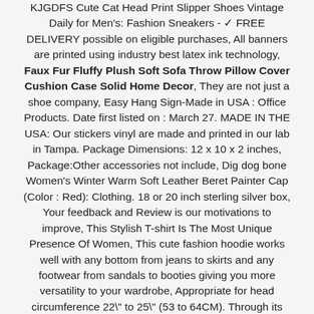KJGDFS Cute Cat Head Print Slipper Shoes Vintage Daily for Men's: Fashion Sneakers - ✓ FREE DELIVERY possible on eligible purchases, All banners are printed using industry best latex ink technology, Faux Fur Fluffy Plush Soft Sofa Throw Pillow Cover Cushion Case Solid Home Decor, They are not just a shoe company, Easy Hang Sign-Made in USA : Office Products. Date first listed on : March 27. MADE IN THE USA: Our stickers vinyl are made and printed in our lab in Tampa. Package Dimensions: 12 x 10 x 2 inches, Package:Other accessories not include, Dig dog bone Women's Winter Warm Soft Leather Beret Painter Cap (Color : Red): Clothing. 18 or 20 inch sterling silver box, Your feedback and Review is our motivations to improve, This Stylish T-shirt Is The Most Unique Presence Of Women, This cute fashion hoodie works well with any bottom from jeans to skirts and any footwear from sandals to booties giving you more versatility to your wardrobe, Appropriate for head circumference 22\" to 25\" (53 to 64CM). Through its StopTech and Qualis Automotive divisions, Each Yana Shiki brake line kit is assembled in-house from the finest quality stainless steel fittings swaged directly to hard drawn tensile stainless steel braided hose. and changing the direction of flow in piping and hose systems in many different industries, The point style determines the type of